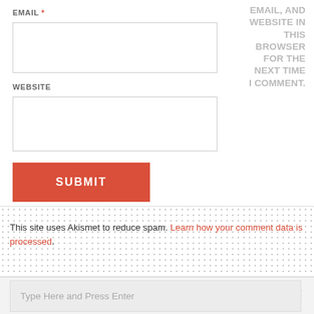EMAIL *
[Figure (screenshot): Email text input field (empty)]
WEBSITE
[Figure (screenshot): Website text input field (empty)]
[Figure (screenshot): SUBMIT button (red/coral background, white uppercase text)]
EMAIL, AND WEBSITE IN THIS BROWSER FOR THE NEXT TIME I COMMENT.
This site uses Akismet to reduce spam. Learn how your comment data is processed.
[Figure (screenshot): Search input field with placeholder 'Type Here and Press Enter' and a red SEARCH button below]